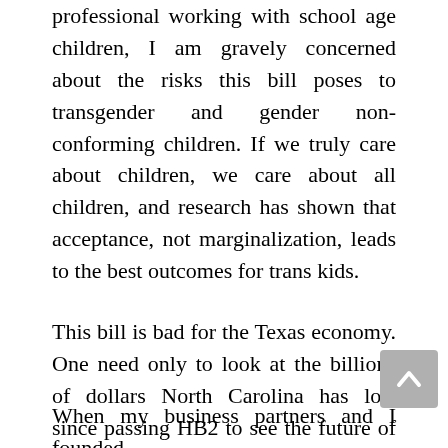professional working with school age children, I am gravely concerned about the risks this bill poses to transgender and gender non-conforming children. If we truly care about children, we care about all children, and research has shown that acceptance, not marginalization, leads to the best outcomes for trans kids.
This bill is bad for the Texas economy. One need only to look at the billions of dollars North Carolina has lost since passing HB2 to see the future of a once robust Texas economy.
When my business partners and I founded